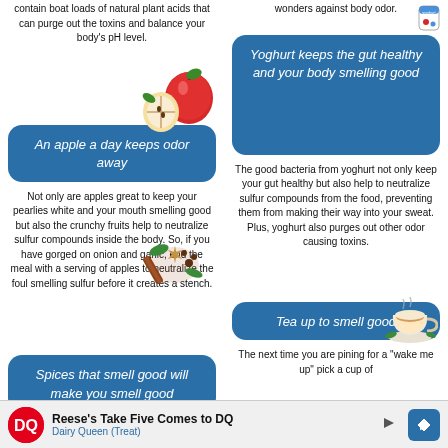contain boat loads of natural plant acids that can purge out the toxins and balance your body's pH level.
wonders against body odor.
[Figure (illustration): Red apple with a slice cut out]
[Figure (illustration): Yoghurt container]
An apple a day keeps odor away
Yoghurt keeps the gut healthy and your body smelling good
Not only are apples great to keep your pearlies white and your mouth smelling good but also the crunchy fruits help to neutralize sulfur compounds inside the body. So, if you have gorged on onion and garlic, end the meal with a serving of apples to neutralize the foul smelling sulfur before it creates a stench.
The good bacteria from yoghurt not only keep your gut healthy but also help to neutralize sulfur compounds from the food, preventing them from making their way into your sweat. Plus, yoghurt also purges out other odor causing toxins.
[Figure (illustration): Tea cup with saucer and green leaves]
[Figure (illustration): Spices and herbs]
Spices that smell good will make you smell good
Tea up to smell good
The next time you are pining for a "wake me up" pick a cup of
Reese's Take Five Comes to DQ Dairy Queen (Treat)